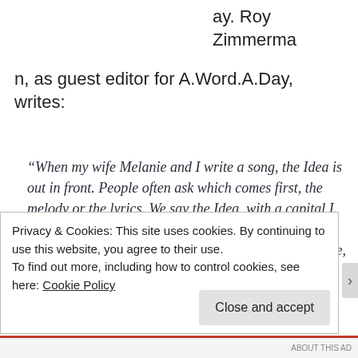ay. Roy Zimmerma
n, as guest editor for A.Word.A.Day, writes:
“When my wife Melanie and I write a song, the Idea is out in front. People often ask which comes first, the melody or the lyrics. We say the Idea, with a capital I. The Idea takes shape as a hook — a little snatch of lyrics and melody — and the hook gives birth to a tune, a meter scheme, and a
Privacy & Cookies: This site uses cookies. By continuing to use this website, you agree to their use.
To find out more, including how to control cookies, see here: Cookie Policy
Close and accept